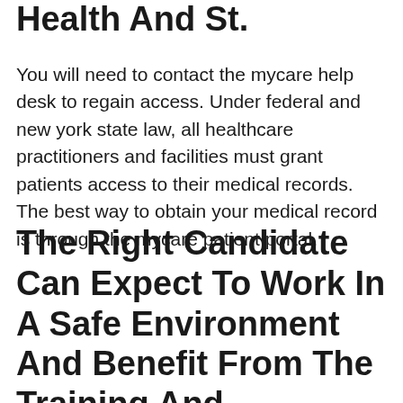Health And St.
You will need to contact the mycare help desk to regain access. Under federal and new york state law, all healthcare practitioners and facilities must grant patients access to their medical records. The best way to obtain your medical record is through the mycare patient portal.
The Right Candidate Can Expect To Work In A Safe Environment And Benefit From The Training And Development Procedures In Place.